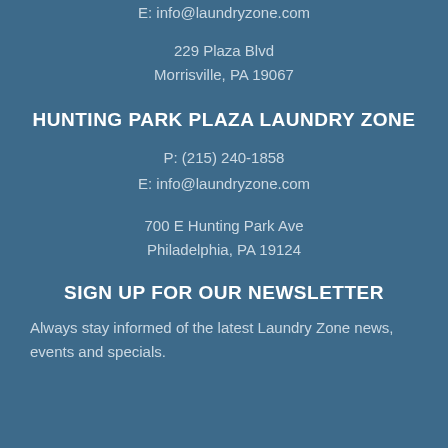E: info@laundryzone.com
229 Plaza Blvd
Morrisville, PA 19067
HUNTING PARK PLAZA LAUNDRY ZONE
P: (215) 240-1858
E: info@laundryzone.com
700 E Hunting Park Ave
Philadelphia, PA 19124
SIGN UP FOR OUR NEWSLETTER
Always stay informed of the latest Laundry Zone news, events and specials.